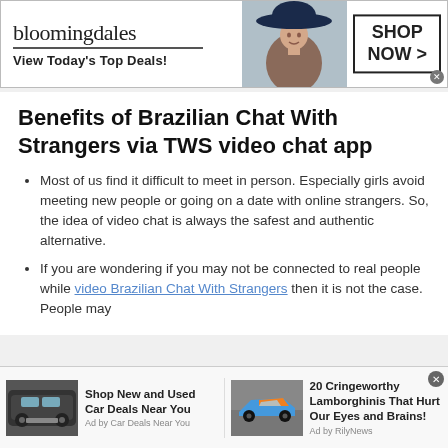[Figure (other): Bloomingdale's advertisement banner with logo, model in hat, and 'SHOP NOW >' button. Text: bloomingdales / View Today's Top Deals!]
Benefits of Brazilian Chat With Strangers via TWS video chat app
Most of us find it difficult to meet in person. Especially girls avoid meeting new people or going on a date with online strangers. So, the idea of video chat is always the safest and authentic alternative.
If you are wondering if you may not be connected to real people while video Brazilian Chat With Strangers then it is not the case. People may
[Figure (other): Bottom ad strip with two ads: 'Shop New and Used Car Deals Near You' (Ad by Car Deals Near You) showing a dark SUV, and '20 Cringeworthy Lamborghinis That Hurt Our Eyes and Brains!' (Ad by RilyNews) showing a blue/orange Lamborghini.]